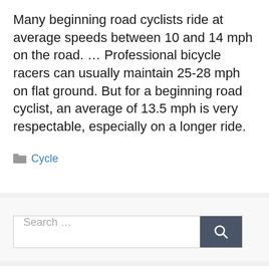Many beginning road cyclists ride at average speeds between 10 and 14 mph on the road. … Professional bicycle racers can usually maintain 25-28 mph on flat ground. But for a beginning road cyclist, an average of 13.5 mph is very respectable, especially on a longer ride.
Cycle
Search …
From the author